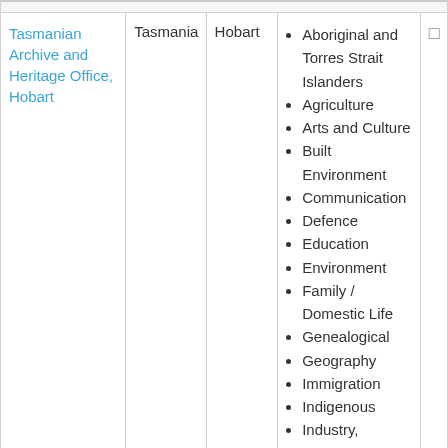|  | Tasmania | Hobart | Topics |  |
| --- | --- | --- | --- | --- |
| Tasmanian Archive and Heritage Office, Hobart | Tasmania | Hobart | Aboriginal and Torres Strait Islanders • Agriculture • Arts and Culture • Built Environment • Communication • Defence • Education • Environment • Family / Domestic Life • Genealogical • Geography • Immigration • Indigenous • Industry, Manufacturing |  |